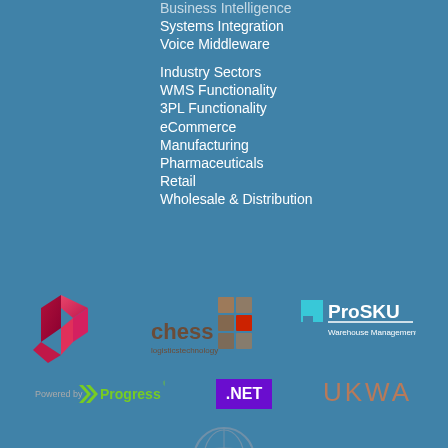Business Intelligence
Systems Integration
Voice Middleware
Industry Sectors
WMS Functionality
3PL Functionality
eCommerce
Manufacturing
Pharmaceuticals
Retail
Wholesale & Distribution
[Figure (logo): P arrow logo in pink/magenta]
[Figure (logo): Chess Logistics Technology logo with brown/red squares]
[Figure (logo): ProSKU Warehouse Management Smarter logo in cyan and white]
[Figure (logo): Powered by Progress logo]
[Figure (logo): .NET purple square logo]
[Figure (logo): UKWA logo in brown/tan]
[Figure (logo): BFFE circular globe logo]